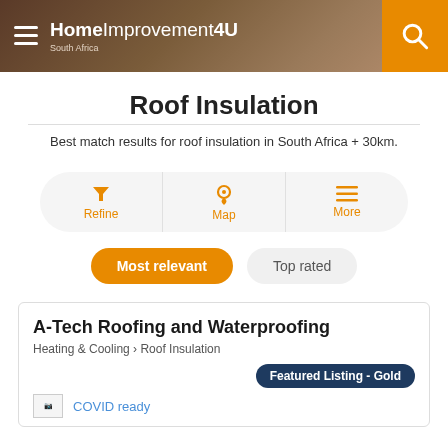HomeImprovement4U South Africa
Roof Insulation
Best match results for roof insulation in South Africa + 30km.
[Figure (infographic): Filter bar with three options: Refine (funnel icon), Map (pin icon), More (lines icon) — all in orange on light grey pill-shaped background]
Most relevant   Top rated
A-Tech Roofing and Waterproofing
Heating & Cooling > Roof Insulation
Featured Listing - Gold
COVID ready